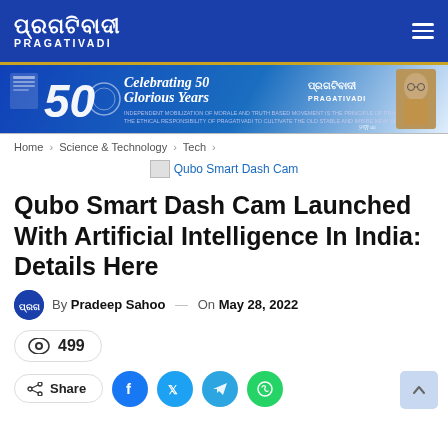PRAGATIVADI
[Figure (illustration): Pragativadi newspaper 50th anniversary banner ad with text 'Celebrating 50 Glorious Years PRAGATIVADI']
Home > Science & Technology > Tech >
Qubo Smart Dash Cam
Qubo Smart Dash Cam Launched With Artificial Intelligence In India: Details Here
By Pradeep Sahoo — On May 28, 2022
499
Share